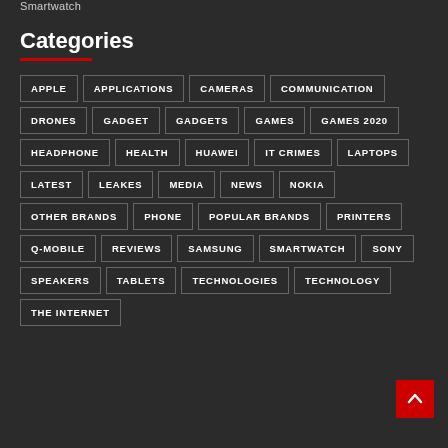Smartwatch
Categories
APPLE
APPLICATIONS
CAMERAS
COMMUNICATION
DRONES
GADGET
GADGETS
GAMES
GAMES 2020
HEADPHONE
HEALTH
HUAWEI
IT CRIMES
LAPTOPS
LATEST
LEAKES
MEDIA
NEWS
NOKIA
OTHER BRANDS
PHONE
POPULAR BRANDS
PRINTERS
Q-MOBILE
REVIEWS
SAMSUNG
SMARTWATCH
SONY
SPEAKERS
TABLETS
TECHNOLOGIES
TECHNOLOGY
THE INTERNET